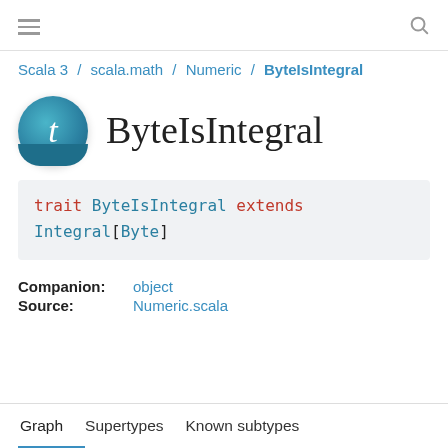≡  🔍
Scala 3 / scala.math / Numeric / ByteIsIntegral
ByteIsIntegral
Companion: object
Source: Numeric.scala
Graph  Supertypes  Known subtypes